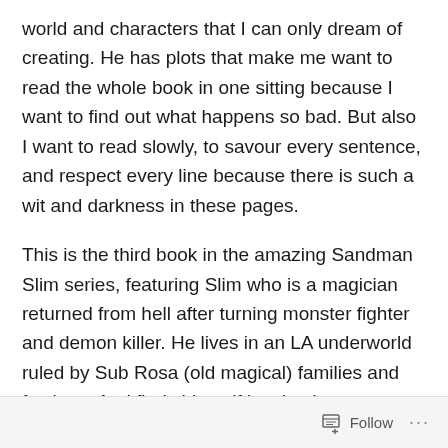world and characters that I can only dream of creating. He has plots that make me want to read the whole book in one sitting because I want to find out what happens so bad. But also I want to read slowly, to savour every sentence, and respect every line because there is such a wit and darkness in these pages.
This is the third book in the amazing Sandman Slim series, featuring Slim who is a magician returned from hell after turning monster fighter and demon killer. He lives in an LA underworld ruled by Sub Rosa (old magical) families and factions. And finds himself involved as a bodyguard to Lucifer, a private-detective and monster hunter. Slim is my hero. The dude rocks my world, and I wish, I so wish, that he was mine. We would have such great adventure
Follow ···